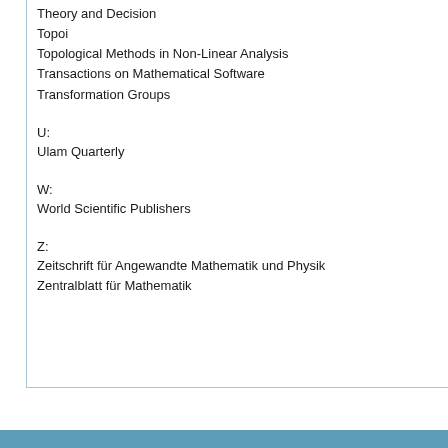Theory and Decision
Topoi
Topological Methods in Non-Linear Analysis
Transactions on Mathematical Software
Transformation Groups
U:
Ulam Quarterly
W:
World Scientific Publishers
Z:
Zeitschrift für Angewandte Mathematik und Physik
Zentralblatt für Mathematik